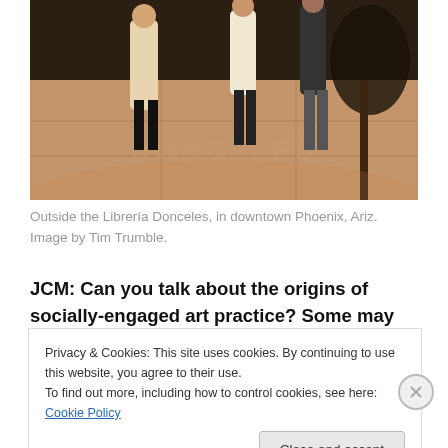[Figure (photo): People standing outside the Librería Donceles in downtown Phoenix, Arizona at night. Viewed from above/street level showing pavement and people.]
Outside the Librería Donceles, in downtown Phoenix, Ariz. Image by Tim Trumble.
JCM: Can you talk about the origins of socially-engaged art practice? Some may consider it a catch-all for what cannot be defined within a specific art genre. However, as a pioneer or leader within this
Privacy & Cookies: This site uses cookies. By continuing to use this website, you agree to their use.
To find out more, including how to control cookies, see here: Cookie Policy
Close and accept